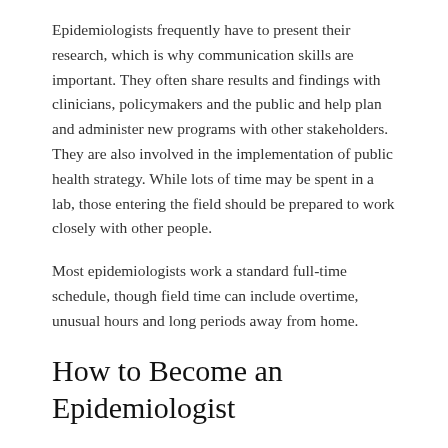Epidemiologists frequently have to present their research, which is why communication skills are important. They often share results and findings with clinicians, policymakers and the public and help plan and administer new programs with other stakeholders. They are also involved in the implementation of public health strategy. While lots of time may be spent in a lab, those entering the field should be prepared to work closely with other people.
Most epidemiologists work a standard full-time schedule, though field time can include overtime, unusual hours and long periods away from home.
How to Become an Epidemiologist
There are some key steps required to become an epidemiologist.